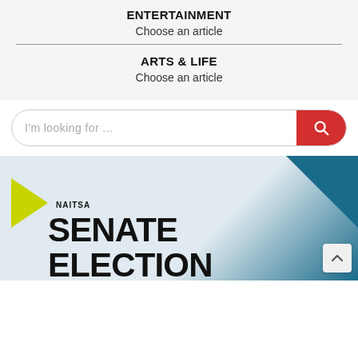ENTERTAINMENT
Choose an article
ARTS & LIFE
Choose an article
I'm looking for ...
[Figure (photo): NAITSA Senate Election banner with yellow arrow logo, dark text on light blue/grey background with teal blue geometric corner accent]